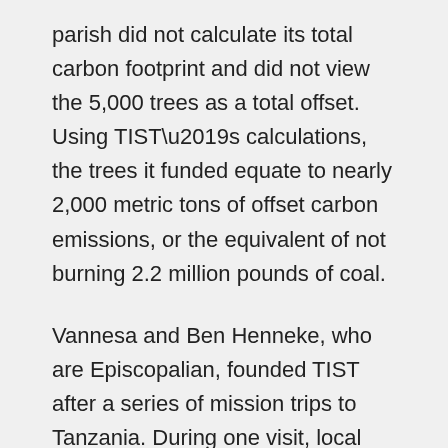parish did not calculate its total carbon footprint and did not view the 5,000 trees as a total offset. Using TIST’s calculations, the trees it funded equate to nearly 2,000 metric tons of offset carbon emissions, or the equivalent of not burning 2.2 million pounds of coal.
Vannesa and Ben Henneke, who are Episcopalian, founded TIST after a series of mission trips to Tanzania. During one visit, local community members expressed a desire to replant the trees that once covered the local hills and mountainsides.